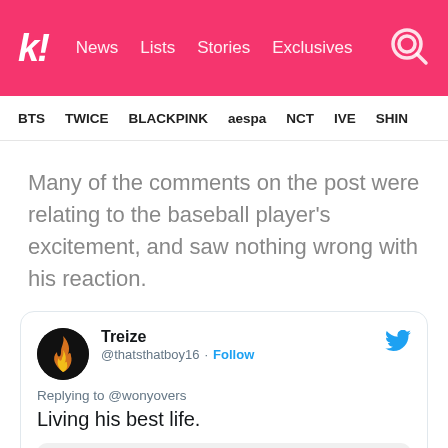kl! News Lists Stories Exclusives
BTS TWICE BLACKPINK aespa NCT IVE SHIN...
Many of the comments on the post were relating to the baseball player's excitement, and saw nothing wrong with his reaction.
Treize @thatsthatboy16 · Follow
Replying to @wonyovers
Living his best life.